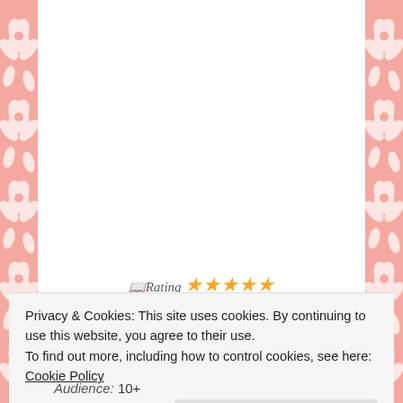[Figure (illustration): Page with salmon/pink floral damask border pattern on left and right sides, white center content area]
Rating ★★★★★
Privacy & Cookies: This site uses cookies. By continuing to use this website, you agree to their use.
To find out more, including how to control cookies, see here: Cookie Policy
Close and accept
Audience: 10+